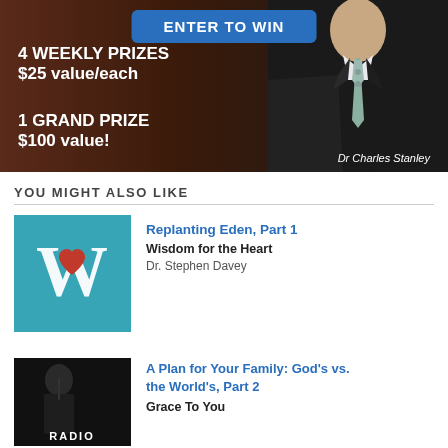[Figure (photo): Promotional banner for a giveaway featuring Dr Charles Stanley. Blue 'ENTER TO WIN' button at top. Dark brown/maroon background with white bold text: '4 WEEKLY PRIZES $25 value/each' and '1 GRAND PRIZE $100 value!'. Dr Charles Stanley in suit and tie visible on right side. His name in italic white text at bottom right.]
YOU MIGHT ALSO LIKE
[Figure (logo): Teal/turquoise square logo with large white letter W and a red heart in the center of the W, for Wisdom for the Heart podcast.]
Replanting Eden, Part 1
Wisdom for the Heart
Dr. Stephen Davey
[Figure (photo): Dark/black background with a partially visible person and the word RADIO in white bold text at the bottom, for Grace To You radio program.]
A Plan for Your Family: God's vs. the World's, Part 2
Grace To You